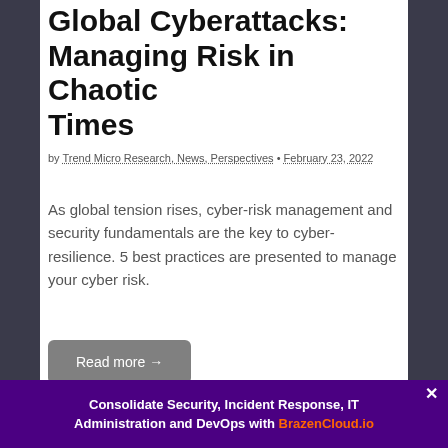Global Cyberattacks: Managing Risk in Chaotic Times
by Trend Micro Research, News, Perspectives • February 23, 2022
As global tension rises, cyber-risk management and security fundamentals are the key to cyber-resilience. 5 best practices are presented to manage your cyber risk.
Read more →
SECURITY VENDOR NEWS
Recent Cyberattacks
Consolidate Security, Incident Response, IT Administration and DevOps with BrazenCloud.io